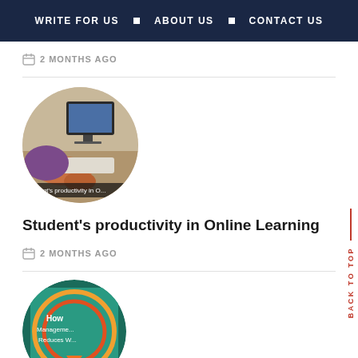WRITE FOR US ■ ABOUT US ■ CONTACT US
2 MONTHS AGO
[Figure (photo): Circular thumbnail image of a student working at a computer desk, with caption 'Student's productivity in O...']
Student's productivity in Online Learning
2 MONTHS AGO
[Figure (photo): Partial circular thumbnail image of a book/infographic with teal and orange colors, showing text 'How Management Reduces W...']